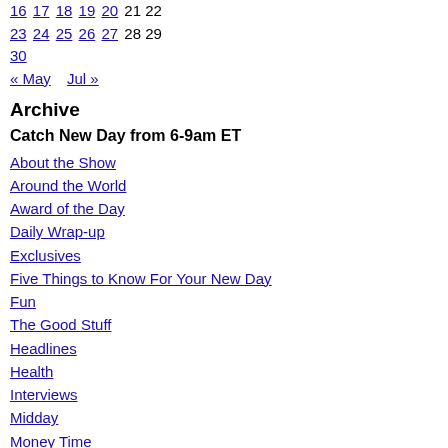16 17 18 19 20 21 22
23 24 25 26 27 28 29
30
« May   Jul »
Archive
Catch New Day from 6-9am ET
About the Show
Around the World
Award of the Day
Daily Wrap-up
Exclusives
Five Things to Know For Your New Day
Fun
The Good Stuff
Headlines
Health
Interviews
Midday
Money Time
New Day Weekend
News
Political Gut Check